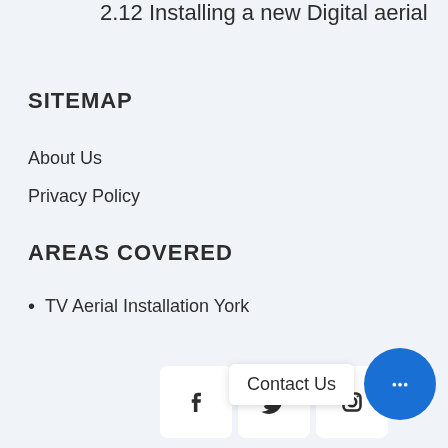2.12 Installing a new Digital aerial
SITEMAP
About Us
Privacy Policy
AREAS COVERED
TV Aerial Installation York
Contact Us